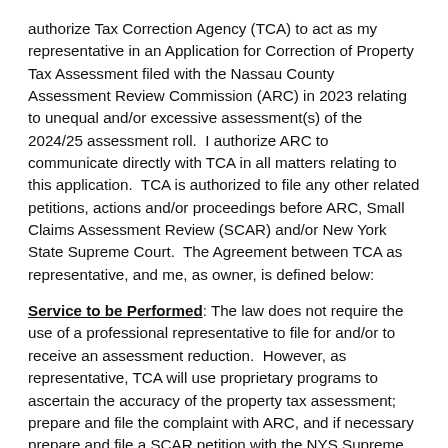authorize Tax Correction Agency (TCA) to act as my representative in an Application for Correction of Property Tax Assessment filed with the Nassau County Assessment Review Commission (ARC) in 2023 relating to unequal and/or excessive assessment(s) of the 2024/25 assessment roll. I authorize ARC to communicate directly with TCA in all matters relating to this application. TCA is authorized to file any other related petitions, actions and/or proceedings before ARC, Small Claims Assessment Review (SCAR) and/or New York State Supreme Court. The Agreement between TCA as representative, and me, as owner, is defined below:
Service to be Performed: The law does not require the use of a professional representative to file for and/or to receive an assessment reduction. However, as representative, TCA will use proprietary programs to ascertain the accuracy of the property tax assessment; prepare and file the complaint with ARC, and if necessary prepare and file a SCAR petition with the NYS Supreme Court; prepare the best possible supporting evidence and appear at all conferences and court hearings as necessary; make all reasonable efforts to convey settlement offers made in advance of a tax assessment...